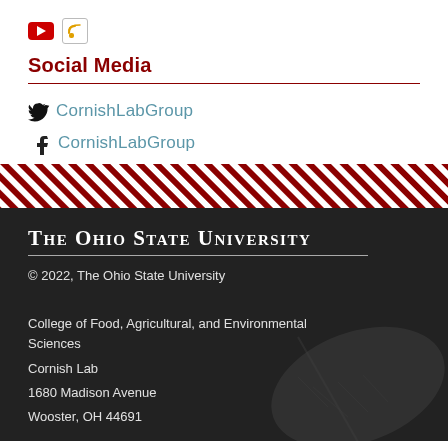[Figure (logo): YouTube icon (red rectangle with white play button) and RSS/feed icon]
Social Media
CornishLabGroup (Twitter/X)
CornishLabGroup (Facebook)
[Figure (illustration): Diagonal red and white stripe pattern as a decorative divider band]
The Ohio State University
© 2022, The Ohio State University
College of Food, Agricultural, and Environmental Sciences
Cornish Lab
1680 Madison Avenue
Wooster, OH 44691